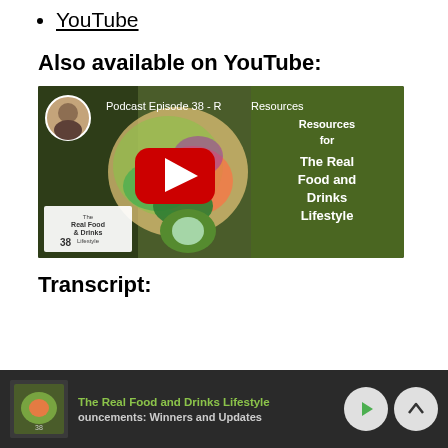YouTube
Also available on YouTube:
[Figure (screenshot): YouTube video thumbnail for Podcast Episode 38 - Resources for The Real Food and Drinks Lifestyle, showing a salad bowl with vegetables and a YouTube play button]
Transcript:
The Real Food and Drinks Lifestyle | ouncements: Winners and Updates